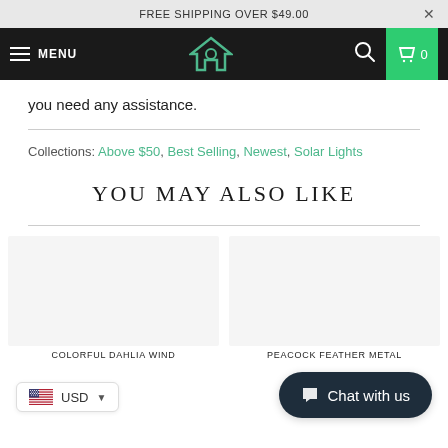FREE SHIPPING OVER $49.00
MENU
you need any assistance.
Collections: Above $50, Best Selling, Newest, Solar Lights
YOU MAY ALSO LIKE
[Figure (other): Two product image placeholders side by side]
COLORFUL DAHLIA WIND
PEACOCK FEATHER METAL